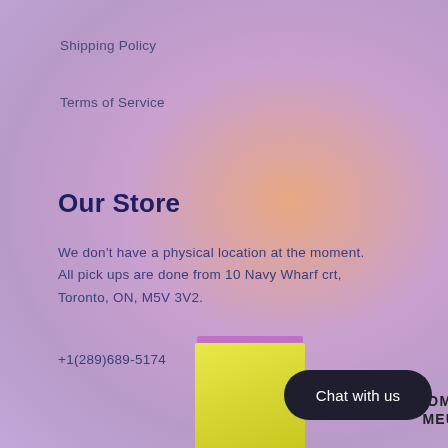Shipping Policy
Terms of Service
Our Store
We don't have a physical location at the moment. All pick ups are done from 10 Navy Wharf crt, Toronto, ON, M5V 3V2.
+1(289)689-5174
[Figure (photo): Yellow product box with purple lid labeled DOMUS MEUS, with a dark rounded Chat with us button]
Chat with us